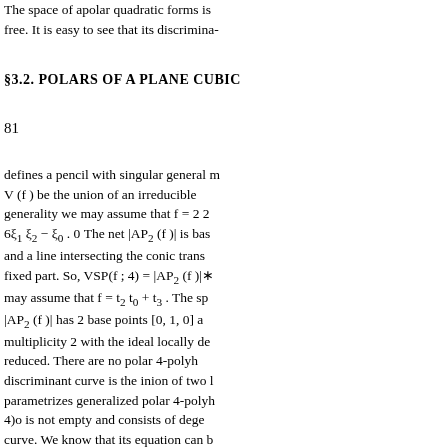The space of apolar quadratic forms is free. It is easy to see that its discrimina-
§3.2. POLARS OF A PLANE CUBIC
81
defines a pencil with singular general member. Let V (f ) be the union of an irreducible generality we may assume that f = 2 2 6ξ1 ξ2 − ξ0 . 0 The net |AP2 (f )| is base-point-free and a line intersecting the conic trans- fixed part. So, VSP(f ; 4) = |AP2 (f )|∗ may assume that f = t2 t0 + t3 . The space |AP2 (f )| has 2 base points [0, 1, 0] and multiplicity 2 with the ideal locally det- reduced. There are no polar 4-polyh- discriminant curve is the inion of two lines parametrizes generalized polar 4-polyh- 4)o is not empty and consists of dege- curve. We know that its equation can b- The 0 1 2 2 2 2 2 space of apolar quad- V (f ) is Fermat if and only if a(a − 1) = 0 the union of 3 non-concurrent lines. T- nondegenerate generalized polyhedro- Fermat cubic admits degenerate polar base point-free. Its discriminant curve generalized polygons. So, VSP(f ; 4) =